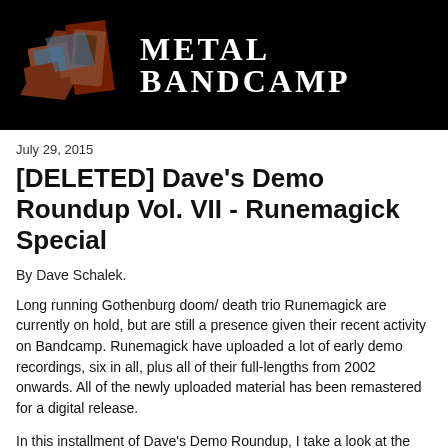[Figure (logo): Metal Bandcamp website header banner with black background, a rusted metal logo image on the left, and 'METAL BANDCAMP' text in white serif bold uppercase letters on the right]
July 29, 2015
[DELETED] Dave's Demo Roundup Vol. VII - Runemagick Special
By Dave Schalek.
Long running Gothenburg doom/ death trio Runemagick are currently on hold, but are still a presence given their recent activity on Bandcamp. Runemagick have uploaded a lot of early demo recordings, six in all, plus all of their full-lengths from 2002 onwards. All of the newly uploaded material has been remastered for a digital release.
In this installment of Dave's Demo Roundup, I take a look at the release of the demo material. I should bare that I...